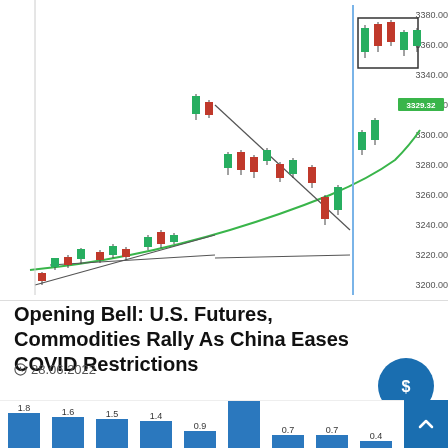[Figure (continuous-plot): Candlestick chart showing stock price movement with trendlines (ascending channel patterns), a green moving average line, and a vertical blue line. Y-axis shows price levels from 3200.00 to 3380.00. Current price label shows 3329.32 highlighted in green.]
Opening Bell: U.S. Futures, Commodities Rally As China Eases COVID Restrictions
28.06.2022
[Figure (bar-chart): ]